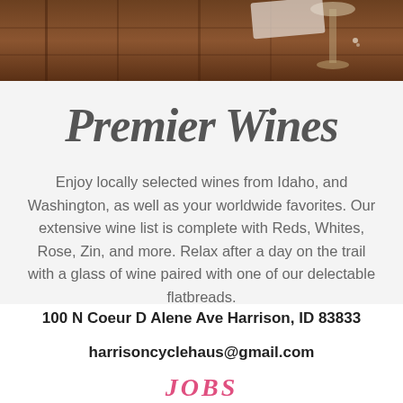[Figure (photo): Top portion showing a photo of wine bottles and a glass on a wooden surface with dark warm tones]
Premier Wines
Enjoy locally selected wines from Idaho, and Washington, as well as your worldwide favorites. Our extensive wine list is complete with Reds, Whites, Rose, Zin, and more. Relax after a day on the trail with a glass of wine paired with one of our delectable flatbreads.
100 N Coeur D Alene Ave Harrison, ID 83833
harrisoncyclehaus@gmail.com
JOBS